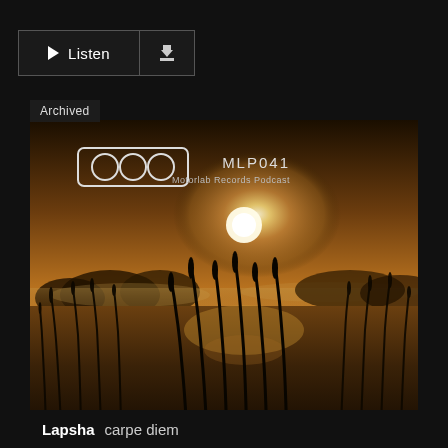[Figure (screenshot): Listen and download buttons in dark UI]
[Figure (photo): Album art for Motorlab Records Podcast MLP041 by Lapsha - carpe diem. Landscape photo showing a misty sunrise over a wetland with silhouetted reeds and trees in warm amber/golden tones. Logo of four circles in a rectangle visible top-left of image. MLP041 / Motorlab Records Podcast text visible top-right.]
Lapsha  carpe diem